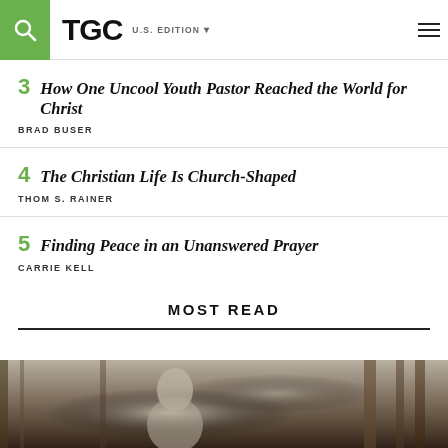TGC U.S. EDITION
3  How One Uncool Youth Pastor Reached the World for Christ
BRAD BUSER
4  The Christian Life Is Church-Shaped
THOM S. RAINER
5  Finding Peace in an Unanswered Prayer
CARRIE KELL
MOST READ
[Figure (photo): Grayscale vintage illustration of a person, appears to be reading or studying, with architectural elements in background]